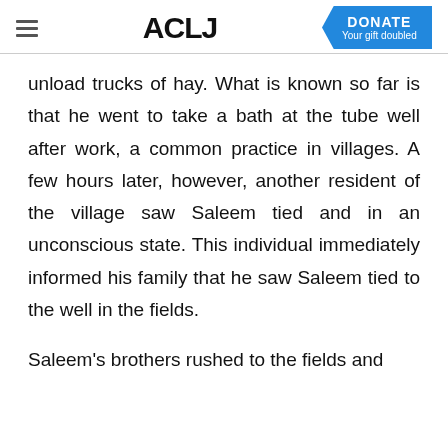ACLJ | DONATE Your gift doubled
unload trucks of hay. What is known so far is that he went to take a bath at the tube well after work, a common practice in villages. A few hours later, however, another resident of the village saw Saleem tied and in an unconscious state. This individual immediately informed his family that he saw Saleem tied to the well in the fields.
Saleem's brothers rushed to the fields and